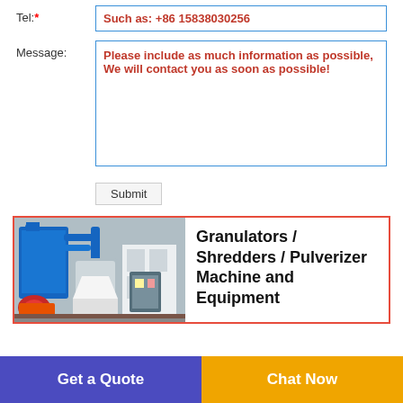Tel:* — Such as: +86 15838030256
Message: — Please include as much information as possible, We will contact you as soon as possible!
Submit
[Figure (photo): Industrial granulator/shredder/pulverizer machine equipment photo showing blue and orange machinery with pipes and industrial components]
Granulators / Shredders / Pulverizer Machine and Equipment
Get a Quote
Chat Now